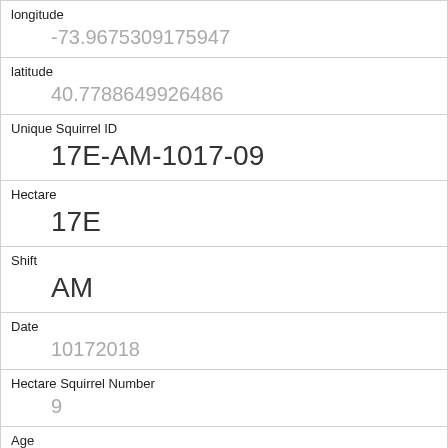| Field | Value |
| --- | --- |
| longitude | -73.9675309175947 |
| latitude | 40.7788649926486 |
| Unique Squirrel ID | 17E-AM-1017-09 |
| Hectare | 17E |
| Shift | AM |
| Date | 10172018 |
| Hectare Squirrel Number | 9 |
| Age | Adult |
| Primary Fur Color | Gray |
| Highlight Fur Color |  |
| Combination of Primary and Highlight Color |  |